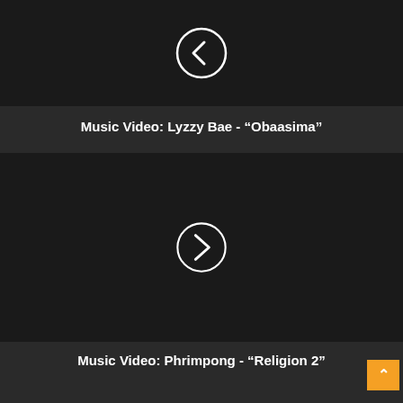[Figure (screenshot): Dark video thumbnail with a circular back/previous navigation button (chevron left) in white outline]
Music Video: Lyzzy Bae - “Obaasima”
[Figure (screenshot): Dark video thumbnail with a circular play/next navigation button (chevron right) in white outline]
Music Video: Phrimpong - “Religion 2”